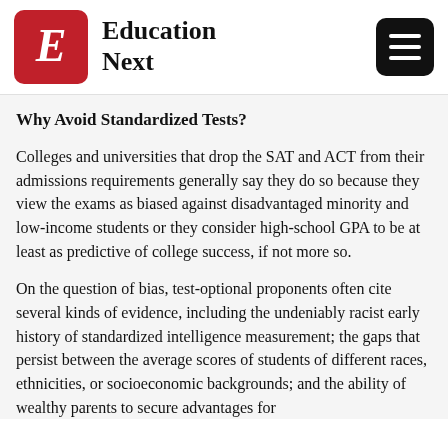Education Next
Why Avoid Standardized Tests?
Colleges and universities that drop the SAT and ACT from their admissions requirements generally say they do so because they view the exams as biased against disadvantaged minority and low-income students or they consider high-school GPA to be at least as predictive of college success, if not more so.
On the question of bias, test-optional proponents often cite several kinds of evidence, including the undeniably racist early history of standardized intelligence measurement; the gaps that persist between the average scores of students of different races, ethnicities, or socioeconomic backgrounds; and the ability of wealthy parents to secure advantages for